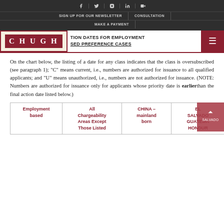SIGN UP FOR OUR NEWSLETTER | CONSULTATION | MAKE A PAYMENT
TION DATES FOR EMPLOYMENT BASED PREFERENCE CASES
On the chart below, the listing of a date for any class indicates that the class is oversubscribed (see paragraph 1); "C" means current, i.e., numbers are authorized for issuance to all qualified applicants; and "U" means unauthorized, i.e., numbers are not authorized for issuance. (NOTE: Numbers are authorized for issuance only for applicants whose priority date is earlier than the final action date listed below.)
| Employment based | All Chargeability Areas Except Those Listed | CHINA – mainland born | EL SALVADOR GUATEMALA HONDUR… |
| --- | --- | --- | --- |